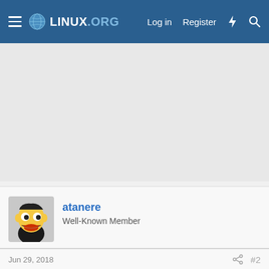LINUX.ORG — Log in  Register
[Figure (other): Advertisement banner area, light gray background]
atanere
Well-Known Member
Jun 29, 2018   #2
The MATE and XFCE editions are released also. 😀
https://www.linuxmint.com/
wizardfromoz and CptCharis